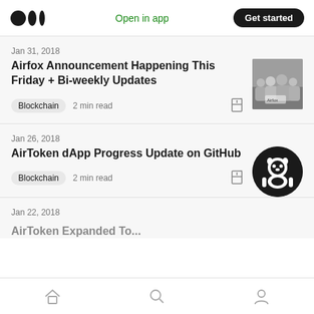Medium app header with logo, Open in app link, Get started button
Jan 31, 2018
Airfox Announcement Happening This Friday + Bi-weekly Updates
Blockchain  2 min read
Jan 26, 2018
AirToken dApp Progress Update on GitHub
Blockchain  2 min read
Jan 22, 2018
Bottom navigation bar with home, search, and profile icons